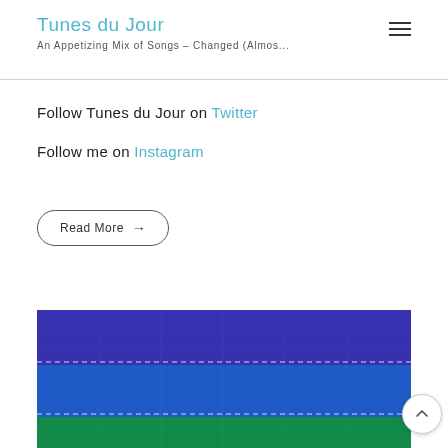Tunes du Jour
An Appetizing Mix of Songs - Changed (Almos...
Follow Tunes du Jour on Twitter
Follow me on Instagram
Read More →
[Figure (photo): Close-up photograph of colorful nylon or fabric material with horizontal bands of purple/indigo, royal blue, and green with visible stitching lines]